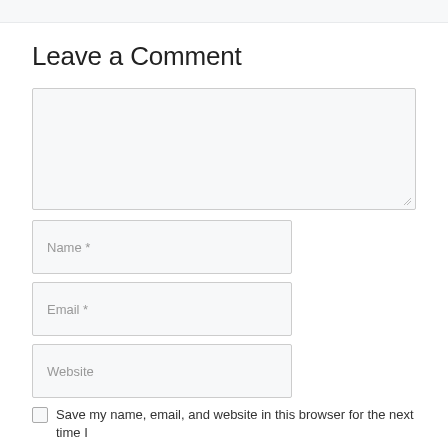Leave a Comment
[Figure (other): Large comment text area input box with light gray background and resize handle]
Name *
Email *
Website
Save my name, email, and website in this browser for the next time I